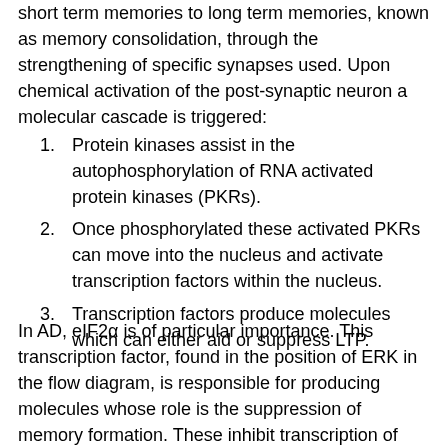short term memories to long term memories, known as memory consolidation, through the strengthening of specific synapses used. Upon chemical activation of the post-synaptic neuron a molecular cascade is triggered:
Protein kinases assist in the autophosphorylation of RNA activated protein kinases (PKRs).
Once phosphorylated these activated PKRs can move into the nucleus and activate transcription factors within the nucleus.
Transcription factors produce molecules which can either aid or suppress LTP.
In AD, eIF2α is of particular importance. This transcription factor, found in the position of ERK in the flow diagram, is responsible for producing molecules whose role is the suppression of memory formation. These inhibit transcription of molecules essential for LTP, such as those involved in